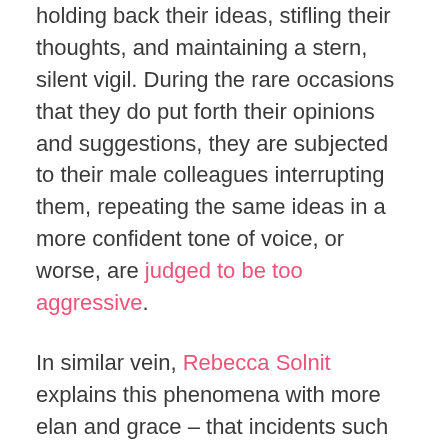holding back their ideas, stifling their thoughts, and maintaining a stern, silent vigil. During the rare occasions that they do put forth their opinions and suggestions, they are subjected to their male colleagues interrupting them, repeating the same ideas in a more confident tone of voice, or worse, are judged to be too aggressive.
In similar vein, Rebecca Solnit explains this phenomena with more elan and grace – that incidents such as mansplaining are "just the intersection between overconfidence and cluelessness where some portion of that gender gets stuck." Unfortunately, it is the female gender that more often than not, gets trapped in this awkward intersection.